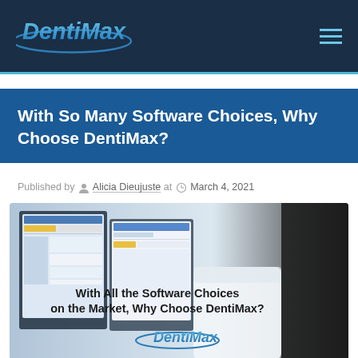DentiMax
With So Many Software Choices, Why Choose DentiMax?
Published by Alicia Dieujuste at March 4, 2021
[Figure (photo): Promotional image showing dental software on monitors with text: 'With All the Software Choices on the Market, Why Choose DentiMax?' and DentiMax logo]